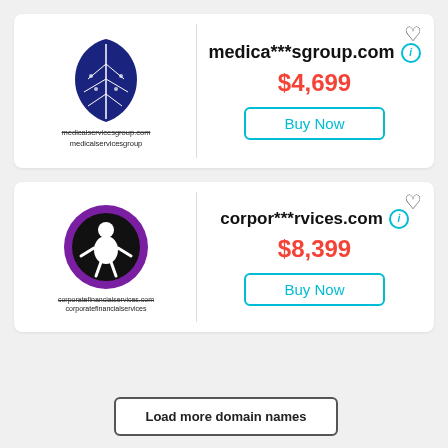[Figure (logo): Blue leaf logo for medicalservicesgroup.com with text 'medicalservicesgroup.com' and 'medicalservicesgroup' below]
medica***sgroup.com
$4,699
Buy Now
[Figure (logo): Purple circle with black center and white figure logo for corporatefinancialservices.com with text 'corporatefinancialservices.com' and 'corporatefinancialservices' below]
corpor***rvices.com
$8,399
Buy Now
Load more domain names